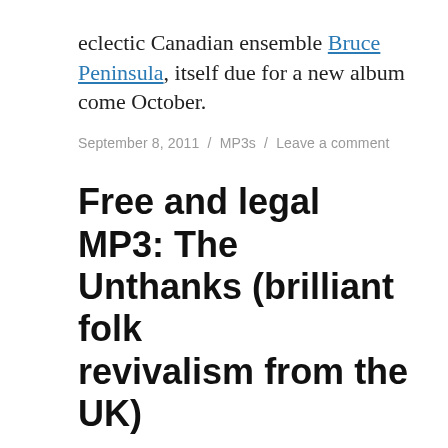eclectic Canadian ensemble Bruce Peninsula, itself due for a new album come October.
September 8, 2011 / MP3s / Leave a comment
Free and legal MP3: The Unthanks (brilliant folk revivalism from the UK)
Pleasantly off-kilter and yet still lovely folk revivalism from a pair of sisters from the English countryside.
[Figure (photo): Broken image thumbnail labeled 'The Unthanks']